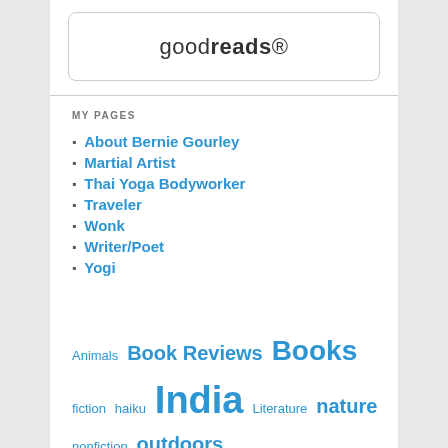[Figure (logo): Goodreads logo inside a rounded rectangle border]
MY PAGES
About Bernie Gourley
Martial Artist
Thai Yoga Bodyworker
Traveler
Wonk
Writer/Poet
Yogi
Animals  Book Reviews  Books  fiction  haiku  India  Literature  nature  nonfiction  outdoors  photographs  Photos